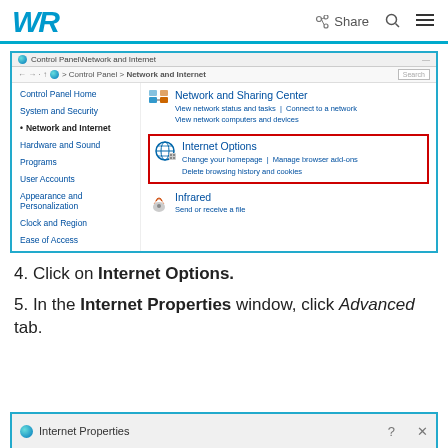WR | Share
[Figure (screenshot): Windows Control Panel showing Network and Internet section with Internet Options highlighted in a red box. Left sidebar shows Control Panel Home, System and Security, Network and Internet (active/bold with bullet), Hardware and Sound, Programs, User Accounts, Appearance and Personalization, Clock and Region, Ease of Access. Right panel shows Network and Sharing Center with links, then Internet Options section highlighted in red border with links, then Infrared.]
4. Click on Internet Options.
5. In the Internet Properties window, click Advanced tab.
[Figure (screenshot): Partial bottom strip showing Internet Properties window title bar with globe icon.]